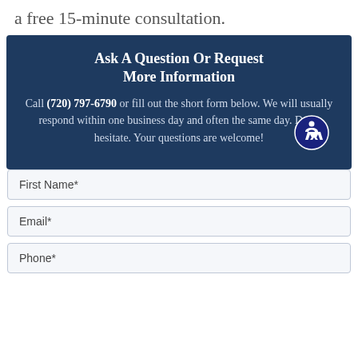a free 15-minute consultation.
Ask A Question Or Request More Information
Call (720) 797-6790 or fill out the short form below. We will usually respond within one business day and often the same day. Don’t hesitate. Your questions are welcome!
First Name*
Email*
Phone*